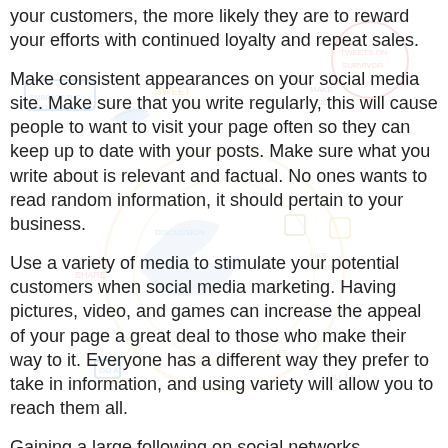your customers, the more likely they are to reward your efforts with continued loyalty and repeat sales.
Make consistent appearances on your social media site. Make sure that you write regularly, this will cause people to want to visit your page often so they can keep up to date with your posts. Make sure what you write about is relevant and factual. No ones wants to read random information, it should pertain to your business.
Use a variety of media to stimulate your potential customers when social media marketing. Having pictures, video, and games can increase the appeal of your page a great deal to those who make their way to it. Everyone has a different way they prefer to take in information, and using variety will allow you to reach them all.
Gaining a large following on social networks necessitates more than just pushing your products. Post links or stories from outside providers that are related to your niche or industry. You can get people engaged by running contests,